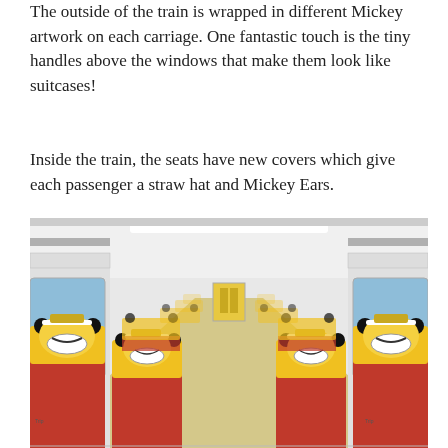The outside of the train is wrapped in different Mickey artwork on each carriage. One fantastic touch is the tiny handles above the windows that make them look like suitcases!
Inside the train, the seats have new covers which give each passenger a straw hat and Mickey Ears.
[Figure (photo): Interior of a Mickey Mouse themed train carriage. Red seats with yellow headrest covers featuring Mickey Mouse straw hat and ears faces. The aisle runs down the center toward a yellow door at the far end. Blue window shades visible on both sides. Small 'Trip' branding logos visible on the lower corners of the front headrests.]